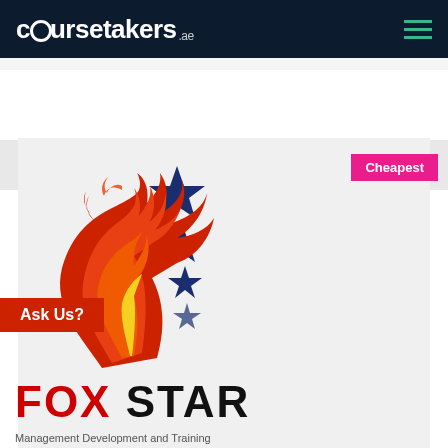coursetakers.ae
Read More
[Figure (logo): Fox Star logo — stylized red and orange phoenix/fox flame figure with a woman's silhouette in orange and yellow, three blue five-pointed stars descending on the right, over a light gray background. Below the figure the text 'FOX STAR' in large bold black and red letters, and partial text below.]
Cheapest
Ask Us?
FOX STAR
Management Development and Training